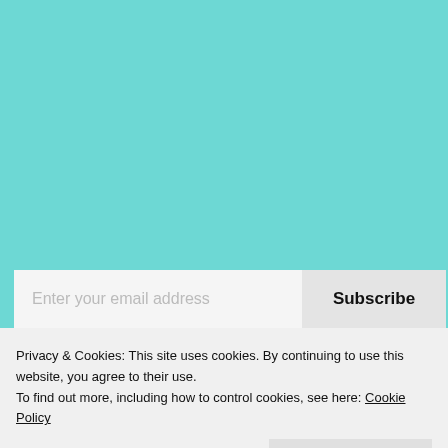[Figure (screenshot): Teal/turquoise background webpage with email subscription bar, partially visible book thumbnail, and cookie consent banner overlay]
Enter your email address
Subscribe
Privacy & Cookies: This site uses cookies. By continuing to use this website, you agree to their use.
To find out more, including how to control cookies, see here: Cookie Policy
Close and accept
BOOK WITH DISCOUNT (eBook)